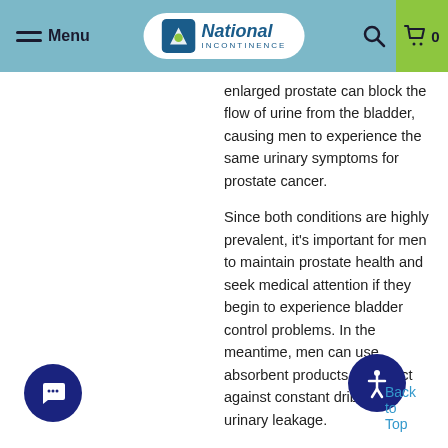Menu | National Incontinence | 0
enlarged prostate can block the flow of urine from the bladder, causing men to experience the same urinary symptoms for prostate cancer.

Since both conditions are highly prevalent, it's important for men to maintain prostate health and seek medical attention if they begin to experience bladder control problems. In the meantime, men can use absorbent products to protect against constant dribbling, urinary leakage.
Back to Top